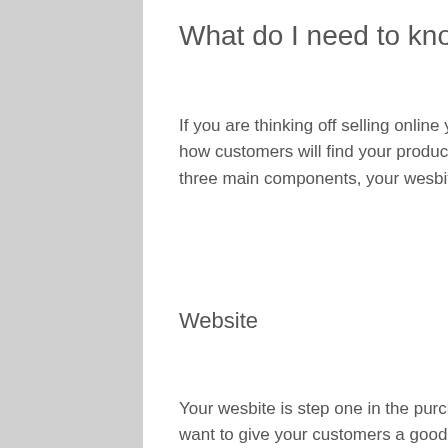What do I need to know before selling online?
If you are thinking off selling online you should know the basics about how eCommerce works, how customers will find your products and how you will get paid. When you sell online there are three main components, your wesbite, your shopping cart system and your payment gateway.
Website
Your wesbite is step one in the purchasing process, the step is extremely important as you want to give your customers a good first impression. Your website should clearly promote